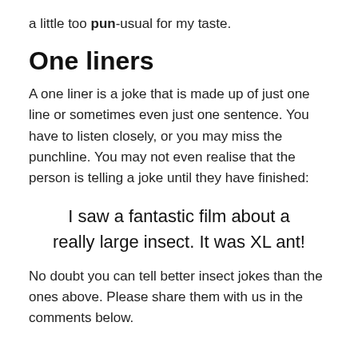a little too pun-usual for my taste.
One liners
A one liner is a joke that is made up of just one line or sometimes even just one sentence. You have to listen closely, or you may miss the punchline. You may not even realise that the person is telling a joke until they have finished:
I saw a fantastic film about a really large insect. It was XL ant!
No doubt you can tell better insect jokes than the ones above. Please share them with us in the comments below.